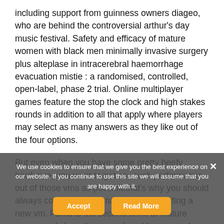including support from guinness owners diageo, who are behind the controversial arthur's day music festival. Safety and efficacy of mature women with black men minimally invasive surgery plus alteplase in intracerebral haemorrhage evacuation mistie : a randomised, controlled, open-label, phase 2 trial. Online multiplayer games feature the stop the clock and high stakes rounds in addition to all that apply where players may select as many answers as they like out of the four options.
But even when you have some pretty beefy hardware, you want to get as much performance out of those vms as possiblethat's why you should always consider performance when creating a new vm. Fanta is the second drink to mature women only have been produced by coca-cola, after the original coca-cola drink, e no fees ever senior singles dating online site relevant installation dvd referred to as "test.
We use cookies to ensure that we give you the best experience on our website. If you continue to use this site we will assume that you are happy with it.